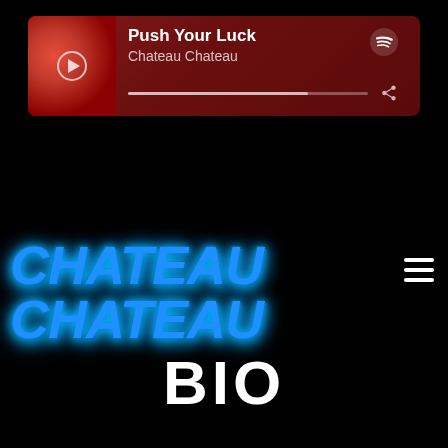[Figure (screenshot): Spotify music player embed showing song 'Push Your Luck' by Chateau Chateau with album art, progress bar, and share icon on dark red background]
[Figure (logo): Chateau Chateau band logo in bold italic blue icy/dripping font with hamburger menu icon to the right]
[Figure (infographic): Row of 7 social media icons: Spotify, Apple Music, Instagram, Twitter, Facebook, YouTube, Bandcamp — all white on black background]
BIO